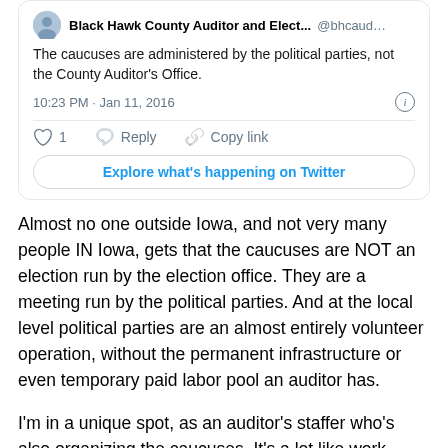[Figure (screenshot): Embedded tweet from Black Hawk County Auditor and Elect... (@bhcaud...) saying 'The caucuses are administered by the political parties, not the County Auditor's Office.' Timestamp: 10:23 PM · Jan 11, 2016. Actions: 1 like, Reply, Copy link. Button: Explore what's happening on Twitter.]
Almost no one outside Iowa, and not very many people IN Iowa, gets that the caucuses are NOT an election run by the election office. They are a meeting run by the political parties. And at the local level political parties are an almost entirely volunteer operation, without the permanent infrastructure or even temporary paid labor pool an auditor has.
I'm in a unique spot, as an auditor's staffer who's also organizing the caucuses. It's a lot like work except for the key difference that I get paid at work and I take vacation time to work on caucuses.